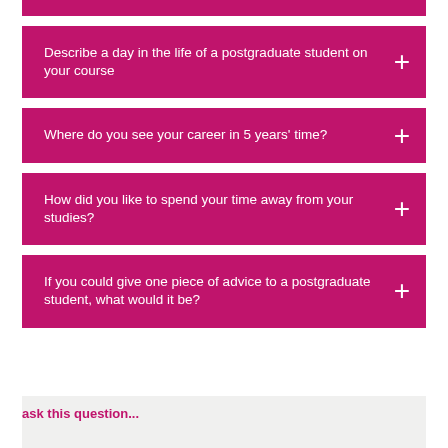Describe a day in the life of a postgraduate student on your course
Where do you see your career in 5 years' time?
How did you like to spend your time away from your studies?
If you could give one piece of advice to a postgraduate student, what would it be?